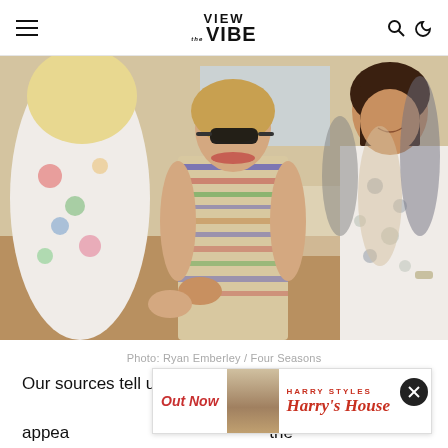VIEW the VIBE
[Figure (photo): Three women at an indoor event; the central figure is a woman in sunglasses with a bob haircut wearing a colorful striped/plaid dress, shaking hands with a woman in a floral outfit on the left; a smiling woman in a white patterned dress stands on the right. Tables and other guests visible in the background.]
Photo: Ryan Emberley / Four Seasons
Our sources tell us that Wintour made an in-and-out appearance at the presentation, and was invited to